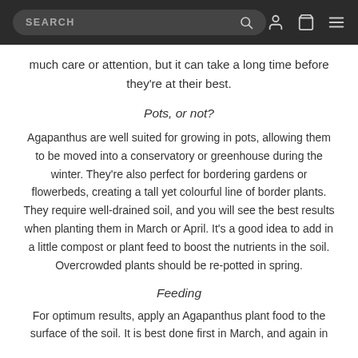SEARCH
much care or attention, but it can take a long time before they're at their best.
Pots, or not?
Agapanthus are well suited for growing in pots, allowing them to be moved into a conservatory or greenhouse during the winter. They're also perfect for bordering gardens or flowerbeds, creating a tall yet colourful line of border plants. They require well-drained soil, and you will see the best results when planting them in March or April. It's a good idea to add in a little compost or plant feed to boost the nutrients in the soil. Overcrowded plants should be re-potted in spring.
Feeding
For optimum results, apply an Agapanthus plant food to the surface of the soil. It is best done first in March, and again in